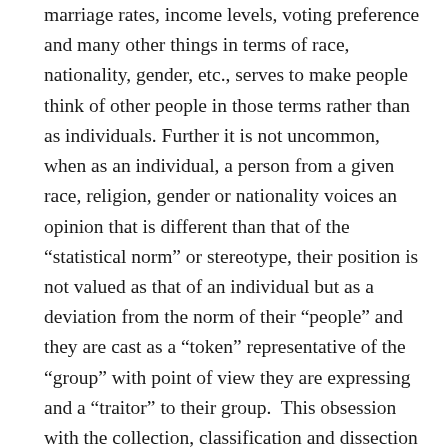marriage rates, income levels, voting preference and many other things in terms of race, nationality, gender, etc., serves to make people think of other people in those terms rather than as individuals. Further it is not uncommon, when as an individual, a person from a given race, religion, gender or nationality voices an opinion that is different than that of the “statistical norm” or stereotype, their position is not valued as that of an individual but as a deviation from the norm of their “people” and they are cast as a “token” representative of the “group” with point of view they are expressing and a “traitor” to their group.  This obsession with the collection, classification and dissection of political, economic or other trends according to race, religion, gender or nationality is a government / societal intrusion that is destructive to the